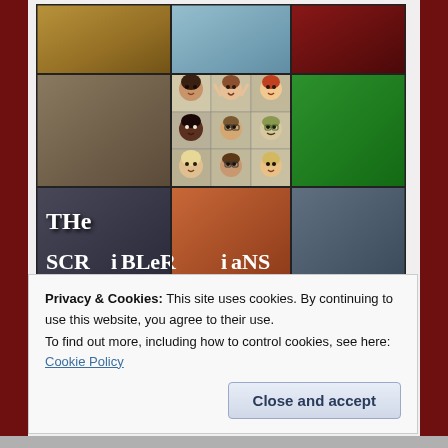[Figure (illustration): A grid of colorful tiles showing 'The SCRiBLeRiaNS' text and cartoon avatar portraits of group members arranged in a 3x3 grid pattern. The bottom row spans full width with stylized handwritten text reading 'THe SCRiBLeRiaNS' on a dark charcoal/slate background.]
Privacy & Cookies: This site uses cookies. By continuing to use this website, you agree to their use.
To find out more, including how to control cookies, see here: Cookie Policy
Close and accept